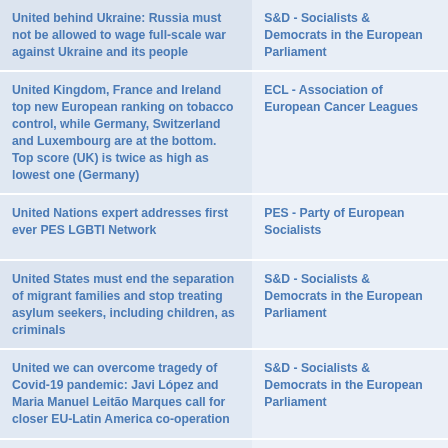| Title | Source |
| --- | --- |
| United behind Ukraine: Russia must not be allowed to wage full-scale war against Ukraine and its people | S&D - Socialists & Democrats in the European Parliament |
| United Kingdom, France and Ireland top new European ranking on tobacco control, while Germany, Switzerland and Luxembourg are at the bottom. Top score (UK) is twice as high as lowest one (Germany) | ECL - Association of European Cancer Leagues |
| United Nations expert addresses first ever PES LGBTI Network | PES - Party of European Socialists |
| United States must end the separation of migrant families and stop treating asylum seekers, including children, as criminals | S&D - Socialists & Democrats in the European Parliament |
| United we can overcome tragedy of Covid-19 pandemic: Javi López and Maria Manuel Leitão Marques call for closer EU-Latin America co-operation | S&D - Socialists & Democrats in the European Parliament |